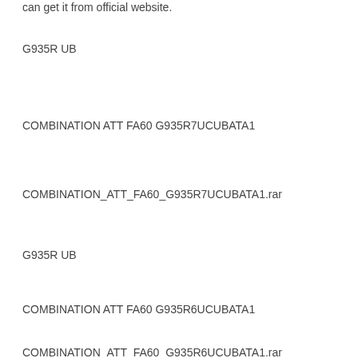can get it from official website.
G935R UB
COMBINATION ATT FA60 G935R7UCUBATA1
COMBINATION_ATT_FA60_G935R7UCUBATA1.rar
G935R UB
COMBINATION ATT FA60 G935R6UCUBATA1
COMBINATION_ATT_FA60_G935R6UCUBATA1.rar